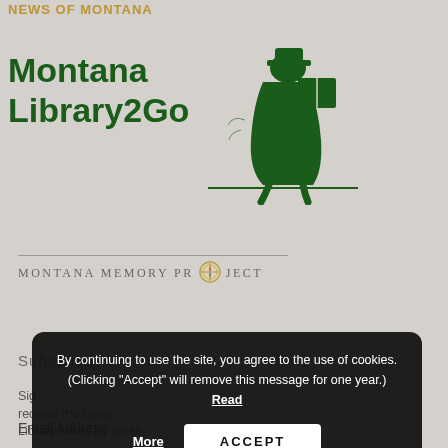News of Montana
[Figure (logo): Montana Library2Go logo with green text and figure of a person reading a book on the right side]
[Figure (logo): Montana Memory Project logo with compass icon and horizontal rule above text]
Subscribe
Sign up to receive the latest Library News by email
Email Address
By continuing to use the site, you agree to the use of cookies. (Clicking "Accept" will remove this message for one year.) Read More
ACCEPT